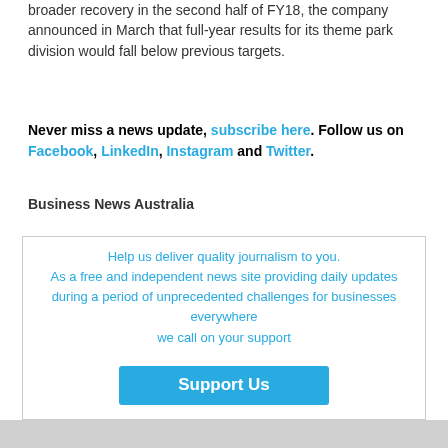broader recovery in the second half of FY18, the company announced in March that full-year results for its theme park division would fall below previous targets.
Never miss a news update, subscribe here. Follow us on Facebook, LinkedIn, Instagram and Twitter.
Business News Australia
Help us deliver quality journalism to you.
As a free and independent news site providing daily updates
during a period of unprecedented challenges for businesses everywhere
we call on your support

Support Us